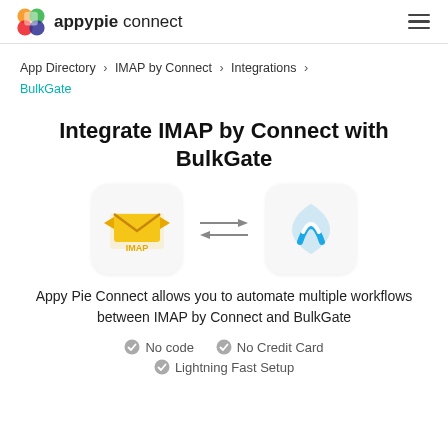appypie connect
App Directory > IMAP by Connect > Integrations > BulkGate
Integrate IMAP by Connect with BulkGate
[Figure (logo): IMAP by Connect logo (yellow envelope with IMAP text) and BulkGate logo (blue shield/letter A shape), connected by bidirectional arrows]
Appy Pie Connect allows you to automate multiple workflows between IMAP by Connect and BulkGate
No code
No Credit Card
Lightning Fast Setup